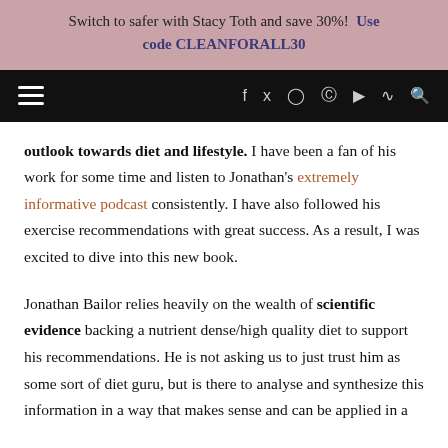Switch to safer with Stacy Toth and save 30%! Use code CLEANFORALL30
[Figure (screenshot): Black navigation bar with hamburger menu icon on the left and social media icons (f, Twitter, Instagram, Pinterest, YouTube, RSS, Search) on the right]
outlook towards diet and lifestyle. I have been a fan of his work for some time and listen to Jonathan's extremely informative podcast consistently. I have also followed his exercise recommendations with great success. As a result, I was excited to dive into this new book.
Jonathan Bailor relies heavily on the wealth of scientific evidence backing a nutrient dense/high quality diet to support his recommendations. He is not asking us to just trust him as some sort of diet guru, but is there to analyse and synthesize this information in a way that makes sense and can be applied in a